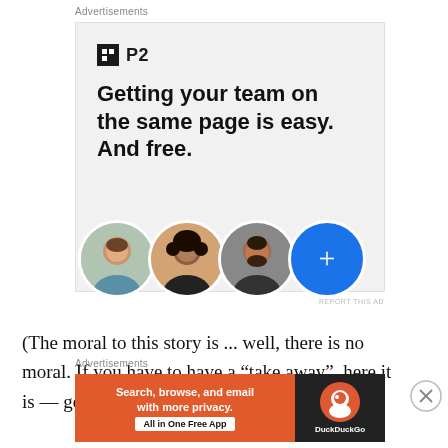Advertisements
[Figure (illustration): P2 advertisement banner with logo, headline text 'Getting your team on the same page is easy. And free.' and four circular avatar images including a blue '+' button]
REPORT THIS AD
(The moral to this story is ... well, there is no moral. If you have to have a “take away”, here it is — get regular
Advertisements
[Figure (illustration): DuckDuckGo advertisement: 'Search, browse, and email with more privacy. All in One Free App' on orange background with DuckDuckGo logo on dark background]
REPORT THIS AD